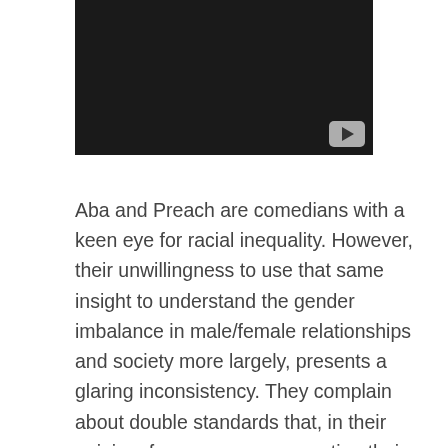[Figure (screenshot): A dark/black video thumbnail with a YouTube-style play button in the bottom-right corner]
Aba and Preach are comedians with a keen eye for racial inequality. However, their unwillingness to use that same insight to understand the gender imbalance in male/female relationships and society more largely, presents a glaring inconsistency. They complain about double standards that, in their opinion, favor women, presenting their personal and anecdotal perspective as evidence, without ever examining the historical and systemic privileges that favor men and shut out women. Why does this matter? Because they perpetuate a toxic masculinity that, however palatable